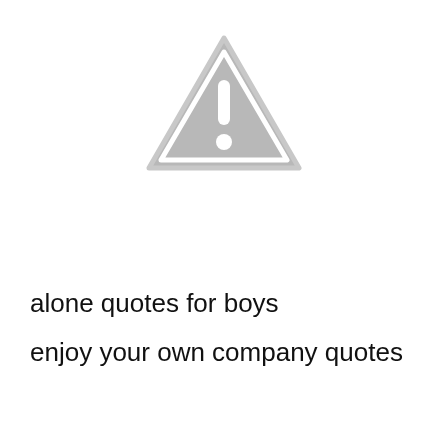[Figure (illustration): A grey warning triangle icon with a white exclamation mark inside, outlined with a grey border on a white background.]
alone quotes for boys
enjoy your own company quotes